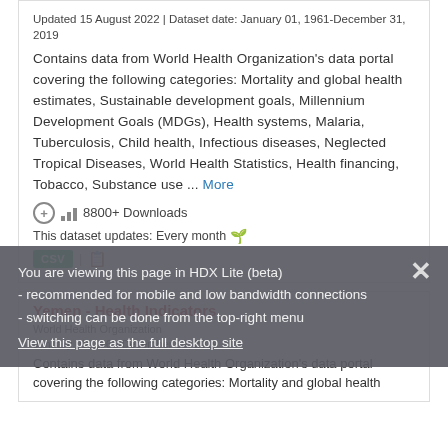Updated 15 August 2022 | Dataset date: January 01, 1961-December 31, 2019
Contains data from World Health Organization's data portal covering the following categories: Mortality and global health estimates, Sustainable development goals, Millennium Development Goals (MDGs), Health systems, Malaria, Tuberculosis, Child health, Infectious diseases, Neglected Tropical Diseases, World Health Statistics, Health financing, Tobacco, Substance use ... More
8800+ Downloads
This dataset updates: Every month
CSV
Yemen - Health Indicators
You are viewing this page in HDX Lite (beta)
- recommended for mobile and low bandwidth connections
- switching can be done from the top-right menu
View this page as the full desktop site
Contains data from World Health Organization's data portal covering the following categories: Mortality and global health